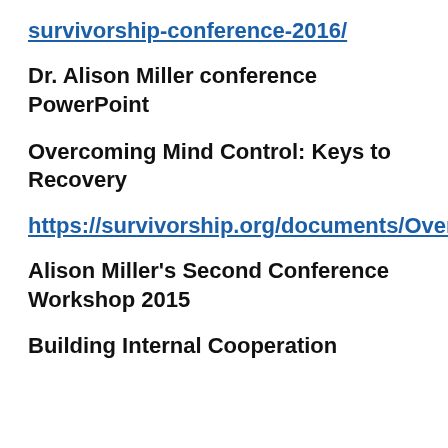survivorship-conference-2016/
Dr. Alison Miller conference PowerPoint
Overcoming Mind Control: Keys to Recovery
https://survivorship.org/documents/OvercomingMindControl.pptx
Alison Miller's Second Conference Workshop 2015
Building Internal Cooperation